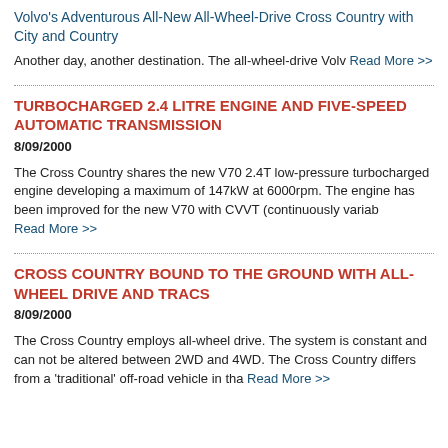Volvo's Adventurous All-New All-Wheel-Drive Cross Country with City and Country
Another day, another destination. The all-wheel-drive Volv Read More >>
TURBOCHARGED 2.4 LITRE ENGINE AND FIVE-SPEED AUTOMATIC TRANSMISSION
8/09/2000
The Cross Country shares the new V70 2.4T low-pressure turbocharged engine developing a maximum of 147kW at 6000rpm. The engine has been improved for the new V70 with CVVT (continuously variab Read More >>
CROSS COUNTRY BOUND TO THE GROUND WITH ALL-WHEEL DRIVE AND TRACS
8/09/2000
The Cross Country employs all-wheel drive. The system is constant and can not be altered between 2WD and 4WD. The Cross Country differs from a 'traditional' off-road vehicle in tha Read More >>